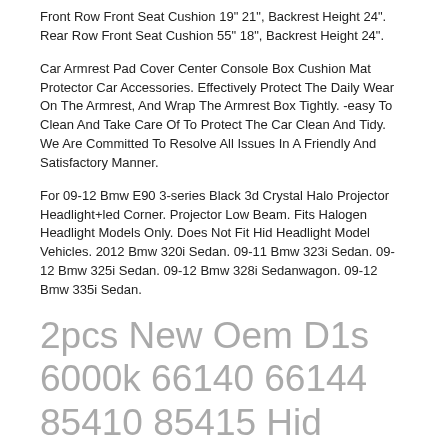Front Row Front Seat Cushion 19" 21", Backrest Height 24". Rear Row Front Seat Cushion 55" 18", Backrest Height 24".
Car Armrest Pad Cover Center Console Box Cushion Mat Protector Car Accessories. Effectively Protect The Daily Wear On The Armrest, And Wrap The Armrest Box Tightly. -easy To Clean And Take Care Of To Protect The Car Clean And Tidy. We Are Committed To Resolve All Issues In A Friendly And Satisfactory Manner.
For 09-12 Bmw E90 3-series Black 3d Crystal Halo Projector Headlight+led Corner. Projector Low Beam. Fits Halogen Headlight Models Only. Does Not Fit Hid Headlight Model Vehicles. 2012 Bmw 320i Sedan. 09-11 Bmw 323i Sedan. 09-12 Bmw 325i Sedan. 09-12 Bmw 328i Sedanwagon. 09-12 Bmw 335i Sedan.
2pcs New Oem D1s 6000k 66140 66144 85410 85415 Hid Xenon Headlight Bulbs Set